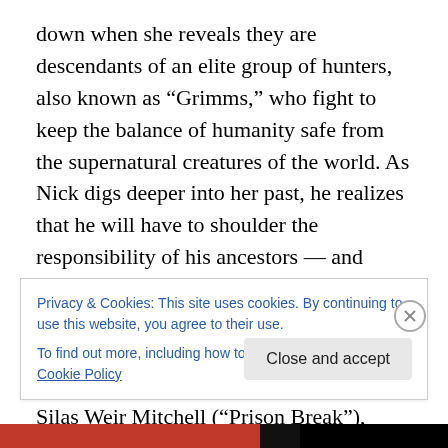down when she reveals they are descendants of an elite group of hunters, also known as “Grimms,” who fight to keep the balance of humanity safe from the supernatural creatures of the world. As Nick digs deeper into her past, he realizes that he will have to shoulder the responsibility of his ancestors — and contend with a larger-than-life mythology of the Brothers Grimm that is now all too real. Russell Hornsby (“Lincoln Heights”), Bitsie Tulloch (“Quarterlife”), Silas Weir Mitchell (“Prison Break”), Reggie Lee (“Persons Unknown”) and Sasha Roiz (“Caprica”) also star. “Grimm” is a production of Universal Media Studios
Privacy & Cookies: This site uses cookies. By continuing to use this website, you agree to their use.
To find out more, including how to control cookies, see here: Cookie Policy
Close and accept